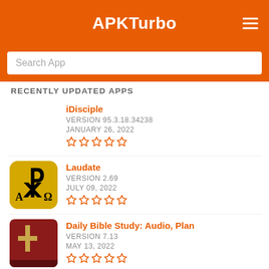APKTurbo
Search App
RECENTLY UPDATED APPS
iDisciple
VERSION 95.3.18.34238
JANUARY 26, 2022
Laudate
VERSION 2.69
JULY 09, 2022
Daily Bible Study: Audio, Plan
VERSION 7.13
MAY 13, 2022
King James Bible KJV